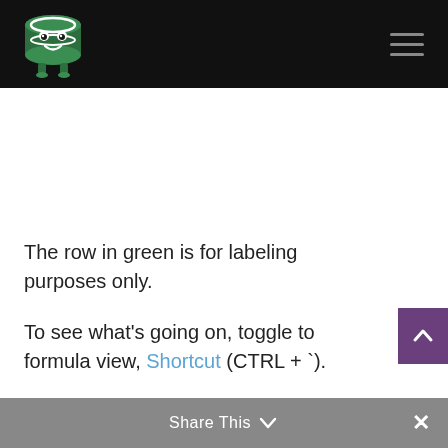DBMSTools logo and navigation header
[Figure (logo): Green cartoon database character mascot logo on black background]
The row in green is for labeling purposes only.
To see what's going on, toggle to formula view, Shortcut (CTRL + `).
Share This ∨  ×